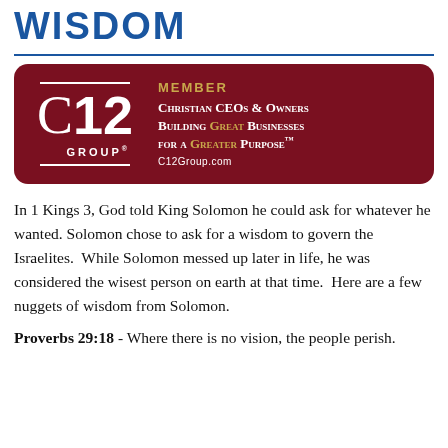WISDOM
[Figure (logo): C12 Group Member logo on dark red/maroon rounded rectangle background. Left side shows C12 GROUP® mark with white horizontal lines above and below. Right side reads MEMBER in gold, then Christian CEOs & Owners Building GREAT Businesses for a GREATER Purpose™ C12Group.com in white and gold text.]
In 1 Kings 3, God told King Solomon he could ask for whatever he wanted. Solomon chose to ask for a wisdom to govern the Israelites.  While Solomon messed up later in life, he was considered the wisest person on earth at that time.  Here are a few nuggets of wisdom from Solomon.
Proverbs 29:18 - Where there is no vision, the people perish.